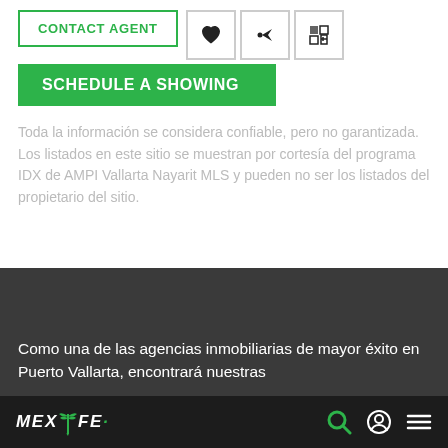[Figure (screenshot): Contact Agent button with border, and three icon buttons (heart, share, expand/grid icon)]
[Figure (screenshot): Schedule a Showing green button]
Toda la información se considera confiable, pero no garantizada. Los listados en este sitio se muestran por cortesía del programa IDX de AMPI Vallarta Nayarit MLS y pueden no ser los listados del propietario del sitio.
Como una de las agencias inmobiliarias de mayor éxito en Puerto Vallarta, encontrará nuestras
MEXLIFE (logo with palm tree icon) | Search icon | User icon | Menu icon